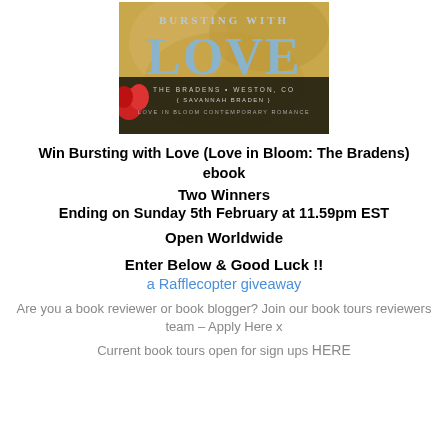[Figure (illustration): Book cover for 'Bursting with Love' - Love in Bloom: The Bradens (Savannah Braden), a Love in Bloom Contemporary Romance. Shows large stylized text 'BURSTING WITH LOVE' on a golden/brown background with a red flower.]
Win Bursting with Love (Love in Bloom: The Bradens) ebook
Two Winners
Ending on Sunday 5th February at 11.59pm EST
Open Worldwide
Enter Below & Good Luck !!
a Rafflecopter giveaway
Are you a book reviewer or book blogger? Join our book tours reviewers team – Apply Here x
Current book tours open for sign ups HERE